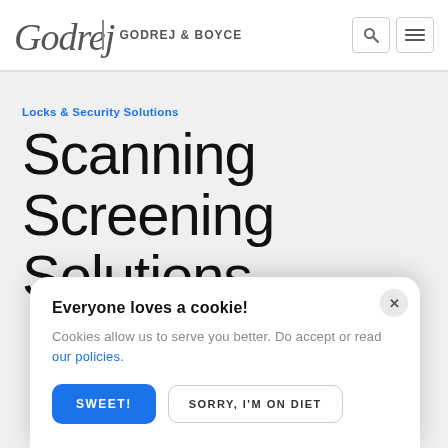Godrej | GODREJ & BOYCE
Locks & Security Solutions
Scanning Screening Solutions
Everyone loves a cookie! Cookies allow us to serve you better. Do accept or read our policies.